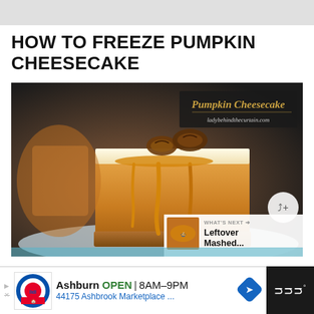HOW TO FREEZE PUMPKIN CHEESECAKE
[Figure (photo): A slice of pumpkin cheesecake with caramel drizzle and candied pecans on top, on a white plate, with a dark background. Script text reads 'Pumpkin Cheesecake' and 'ladybehindthecurtain.com'. A 'WHAT'S NEXT' overlay shows a thumbnail and text 'Leftover Mashed...']
WHAT'S NEXT → Leftover Mashed...
Ashburn OPEN 8AM–9PM 44175 Ashbrook Marketplace ...